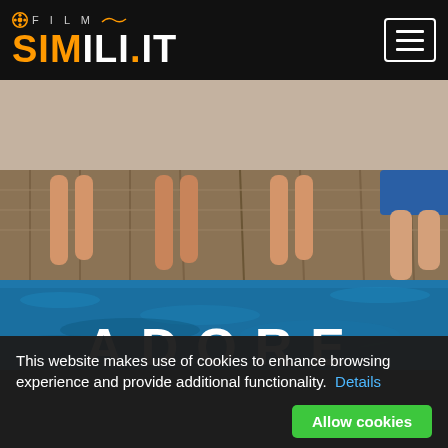FILM SIMILI.IT
[Figure (photo): Movie poster for 'Adore' showing people lying on a wooden dock with blue water below. The word ADORE is displayed in large white letters at the bottom.]
This website makes use of cookies to enhance browsing experience and provide additional functionality. Details
Allow cookies